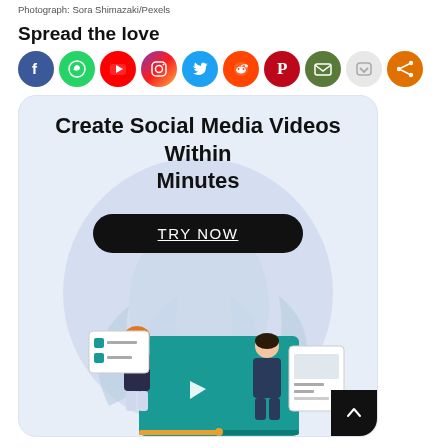Photograph: Sora Shimazaki/Pexels
Spread the love
[Figure (infographic): Row of social media sharing icon circles: Facebook (blue), WhatsApp (green), YouTube (red), Instagram (gradient purple-orange), Twitter (light blue), Reddit (orange-red), Pinterest (dark red), Email (olive green), Pocket (light grey), Share (orange)]
[Figure (infographic): Advertisement banner with light blue background and large circle. Title: 'Create Social Media Videos Within Minutes'. Black rounded button labeled 'TRY NOW'. Illustration of two people working with a teal video player screen with a play button, UI cards, and tropical leaf decorations.]